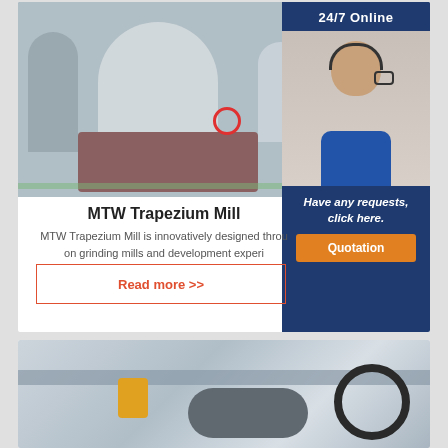[Figure (photo): Industrial MTW Trapezium Mill machine in a factory setting with cylindrical components and red-circled detail]
[Figure (photo): 24/7 Online customer service sidebar with woman wearing headset, 'Have any requests, click here.' text, and orange Quotation button]
MTW Trapezium Mill
MTW Trapezium Mill is innovatively designed through on grinding mills and development experi
Read more >>
[Figure (photo): Industrial ball mill machinery in a factory floor setting with gears, pipes, and yellow hoist equipment]